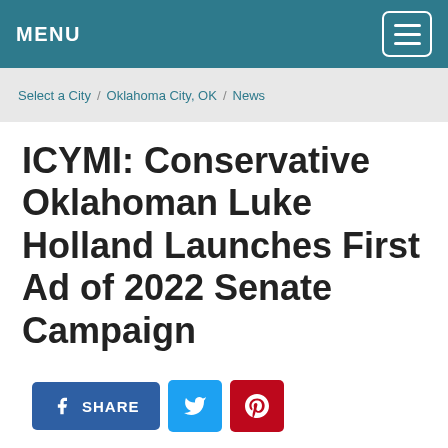MENU
Select a City / Oklahoma City, OK / News
ICYMI: Conservative Oklahoman Luke Holland Launches First Ad of 2022 Senate Campaign
SHARE (Facebook, Twitter, Pinterest social buttons)